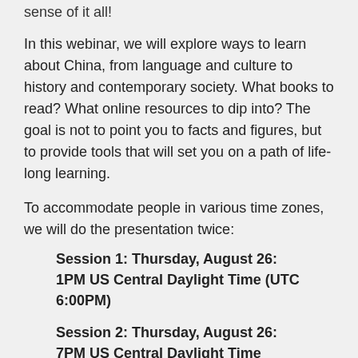sense of it all!
In this webinar, we will explore ways to learn about China, from language and culture to history and contemporary society. What books to read? What online resources to dip into? The goal is not to point you to facts and figures, but to provide tools that will set you on a path of life-long learning.
To accommodate people in various time zones, we will do the presentation twice:
Session 1: Thursday, August 26: 1PM US Central Daylight Time (UTC 6:00PM)
Session 2: Thursday, August 26: 7PM US Central Daylight Time (Friday, August 27, UTC 12:00AM)
For more information, go to: Learning about China: Sipping from a Fire Hose.